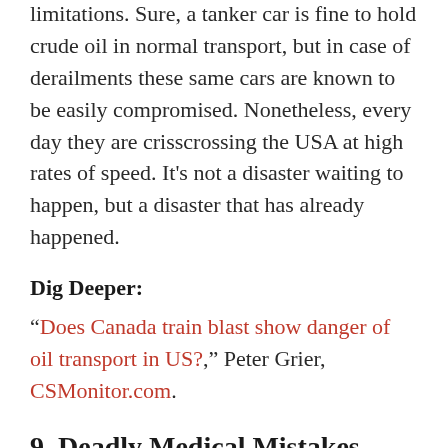railroad cars that have well-known design limitations. Sure, a tanker car is fine to hold crude oil in normal transport, but in case of derailments these same cars are known to be easily compromised. Nonetheless, every day they are crisscrossing the USA at high rates of speed. It's not a disaster waiting to happen, but a disaster that has already happened.
Dig Deeper:
“Does Canada train blast show danger of oil transport in US?,” Peter Grier, CSMonitor.com.
9. Deadly Medical Mistakes Mount Up – Annual Deaths from Medical Mistakes Exceed Combat Deaths?